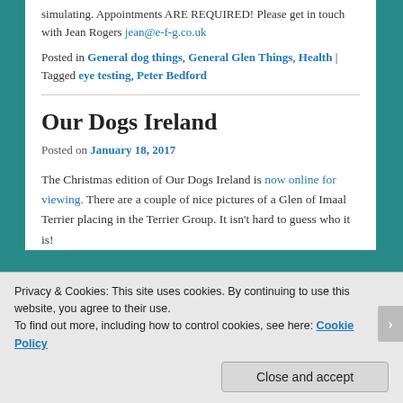simulating. Appointments ARE REQUIRED! Please get in touch with Jean Rogers jean@e-f-g.co.uk
Posted in General dog things, General Glen Things, Health | Tagged eye testing, Peter Bedford
Our Dogs Ireland
Posted on January 18, 2017
The Christmas edition of Our Dogs Ireland is now online for viewing. There are a couple of nice pictures of a Glen of Imaal Terrier placing in the Terrier Group. It isn't hard to guess who it is!
Privacy & Cookies: This site uses cookies. By continuing to use this website, you agree to their use. To find out more, including how to control cookies, see here: Cookie Policy